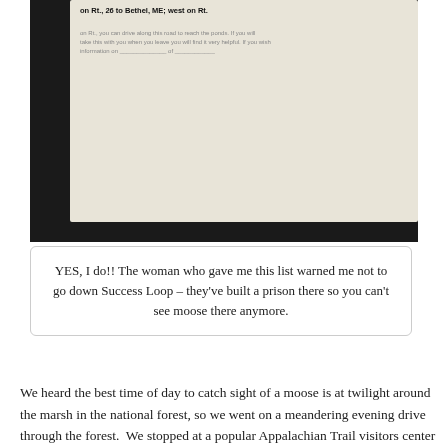[Figure (photo): A photograph showing a piece of paper with printed text about moose watching directions, partially visible, on a dark wooden surface. Text visible includes 'on Rt., 26 to Bethel, ME; west on Rt.' at the top.]
YES, I do!! The woman who gave me this list warned me not to go down Success Loop – they've built a prison there so you can't see moose there anymore.
We heard the best time of day to catch sight of a moose is at twilight around the marsh in the national forest, so we went on a meandering evening drive through the forest.  We stopped at a popular Appalachian Trail visitors center called Pinkham Notch.  They aren't getting many through-hikers this time of year – it's too soon for those hiking north to have arrived in New Hampshire, and those hiking south